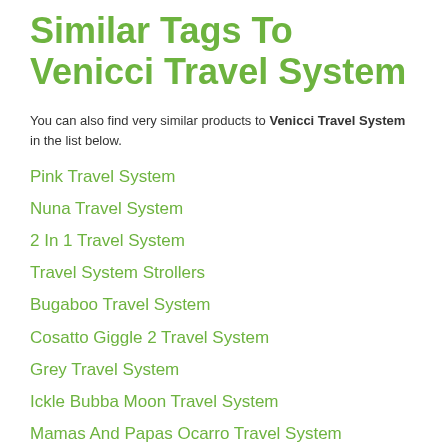Similar Tags To Venicci Travel System
You can also find very similar products to Venicci Travel System in the list below.
Pink Travel System
Nuna Travel System
2 In 1 Travel System
Travel System Strollers
Bugaboo Travel System
Cosatto Giggle 2 Travel System
Grey Travel System
Ickle Bubba Moon Travel System
Mamas And Papas Ocarro Travel System